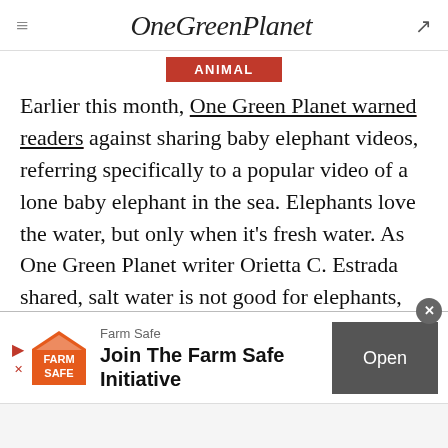OneGreenPlanet
ANIMAL
Earlier this month, One Green Planet warned readers against sharing baby elephant videos, referring specifically to a popular video of a lone baby elephant in the sea. Elephants love the water, but only when it’s fresh water. As One Green Planet writer Orietta C. Estrada shared, salt water is not good for elephants, and beaches have no shade to protect them from the sun.
[Figure (other): Farm Safe advertisement banner: logo with orange Farm Safe text, headline 'Join The Farm Safe Initiative', and an 'Open' button]